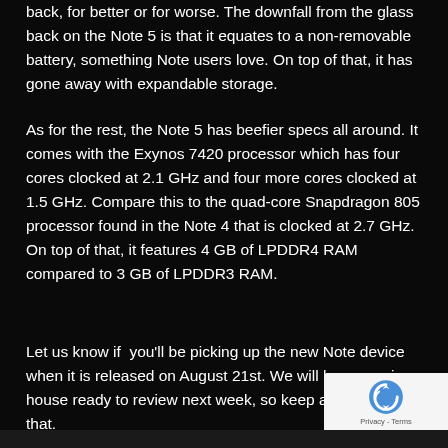back, for better or for worse. The downfall from the glass back on the Note 5 is that it equates to a non-removable battery, something Note users love. On top of that, it has gone away with expandable storage.
As for the rest, the Note 5 has beefier specs all around. It comes with the Exynos 7420 processor which has four cores clocked at 2.1 GHz and four more cores clocked at 1.5 GHz. Compare this to the quad-core Snapdragon 805 processor found in the Note 4 that is clocked at 2.7 GHz. On top of that, it features 4 GB of LPDDR4 RAM compared to 3 GB of LPDDR3 RAM.
Let us know if you'll be picking up the new Note device when it is released on August 21st. We will have one in house ready to review next week, so keep an eye out for that.